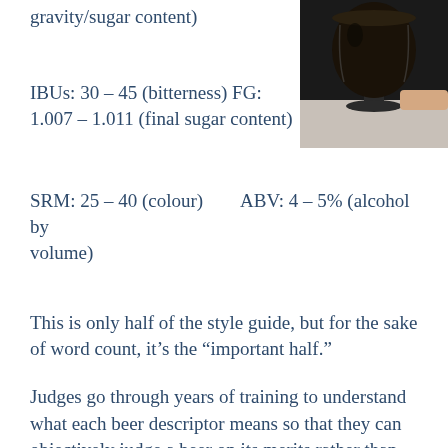gravity/sugar content)
[Figure (photo): Dark beer in a goblet glass on a table, viewed from slightly above]
IBUs: 30 – 45  (bitterness)    FG: 1.007 – 1.011 (final sugar content)
SRM: 25 – 40  (colour)          ABV: 4 – 5% (alcohol by volume)
This is only half of the style guide, but for the sake of word count, it's the “important half.”
Judges go through years of training to understand what each beer descriptor means so that they can objectively judge a beer on its merits rather than on how much they enjoy it. Each judge is assigned a style for a judging session, and each style is assigned to at